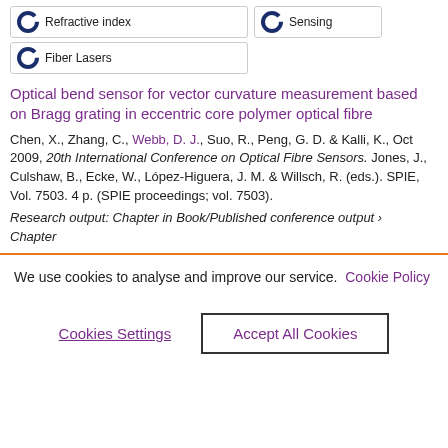Refractive index
Sensing
Fiber Lasers
Optical bend sensor for vector curvature measurement based on Bragg grating in eccentric core polymer optical fibre
Chen, X., Zhang, C., Webb, D. J., Suo, R., Peng, G. D. & Kalli, K., Oct 2009, 20th International Conference on Optical Fibre Sensors. Jones, J., Culshaw, B., Ecke, W., López-Higuera, J. M. & Willsch, R. (eds.). SPIE, Vol. 7503. 4 p. (SPIE proceedings; vol. 7503).
Research output: Chapter in Book/Published conference output › Chapter
We use cookies to analyse and improve our service. Cookie Policy
Cookies Settings
Accept All Cookies